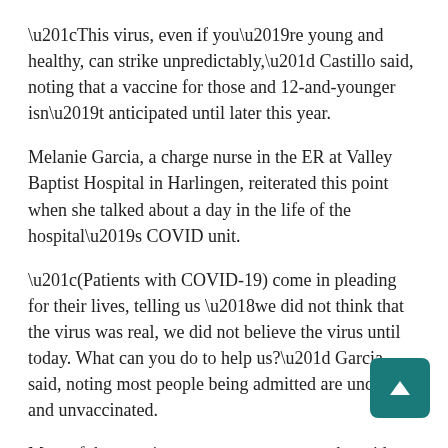“This virus, even if you’re young and healthy, can strike unpredictably,” Castillo said, noting that a vaccine for those and 12-and-younger isn’t anticipated until later this year.
Melanie Garcia, a charge nurse in the ER at Valley Baptist Hospital in Harlingen, reiterated this point when she talked about a day in the life of the hospital’s COVID unit.
“(Patients with COVID-19) come in pleading for their lives, telling us ‘we did not think that the virus was real, we did not believe the virus until today. What can you do to help us?” Garcia said, noting most people being admitted are under 40 and unvaccinated.
Most of these patients are put on oxygen, she said, and are struggling with their symptoms. This is compounded b[y the] unequal ratio of healthcare workers to patients, sayin[g that] adequate care can’t be administered when the hospital is